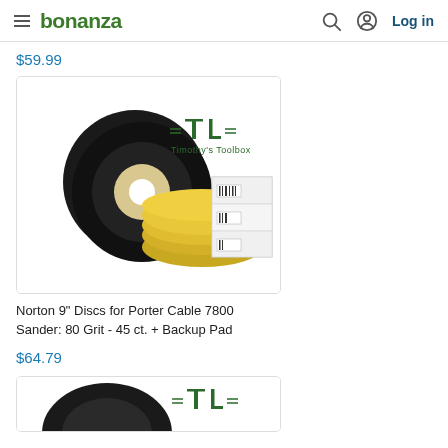bonanza — Log in
$59.99
[Figure (photo): Product photo of Norton 9-inch sanding discs (black circular discs) and yellow round sanding pads stacked in front of white boxes, with Timothy's Toolbox logo in upper right]
Norton 9" Discs for Porter Cable 7800 Sander: 80 Grit - 45 ct. + Backup Pad
$64.79
[Figure (photo): Partial product photo showing the top of a black circular sanding disc and the Timothy's Toolbox logo, partially cut off at bottom of page]